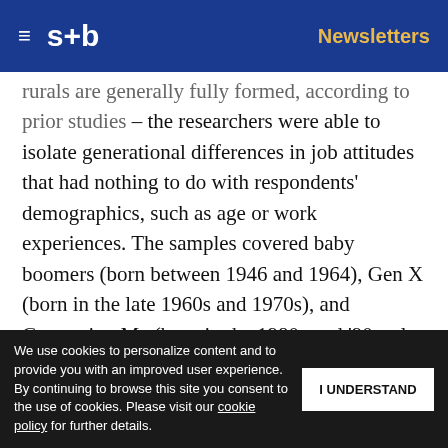s+b  Newsletters
...rurals are generally fully formed, according to prior studies – the researchers were able to isolate generational differences in job attitudes that had nothing to do with respondents' demographics, such as age or work experiences. The samples covered baby boomers (born between 1946 and 1964), Gen X (born in the late 1960s and 1970s), and Generation Me (born in the 1980s and '90s, also known as... The study
Get s+b's award-winning newsletter
We use cookies to personalize content and to provide you with an improved user experience. By continuing to browse this site you consent to the use of cookies. Please visit our cookie policy for further details.